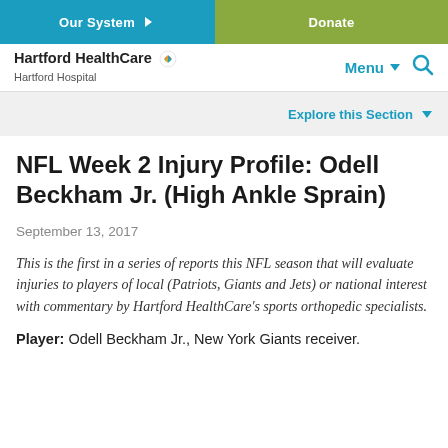Our System ▶   Donate
Hartford HealthCare Hartford Hospital   Menu ▼  🔍
Explore this Section ▼
NFL Week 2 Injury Profile: Odell Beckham Jr. (High Ankle Sprain)
September 13, 2017
This is the first in a series of reports this NFL season that will evaluate injuries to players of local (Patriots, Giants and Jets) or national interest with commentary by Hartford HealthCare's sports orthopedic specialists.
Player: Odell Beckham Jr., New York Giants receiver.